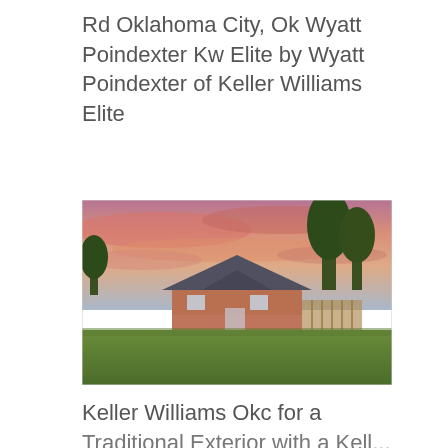Rd Oklahoma City, Ok Wyatt Poindexter Kw Elite by Wyatt Poindexter of Keller Williams Elite
[Figure (photo): Exterior view of a brick house with a large green lawn in the foreground and a dramatic pink-orange sunset sky above. Trees visible on the right side.]
Keller Williams Okc for a Traditional Exterior with a Kell...